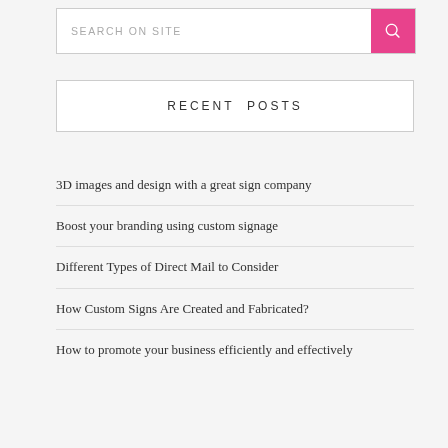SEARCH ON SITE
RECENT POSTS
3D images and design with a great sign company
Boost your branding using custom signage
Different Types of Direct Mail to Consider
How Custom Signs Are Created and Fabricated?
How to promote your business efficiently and effectively